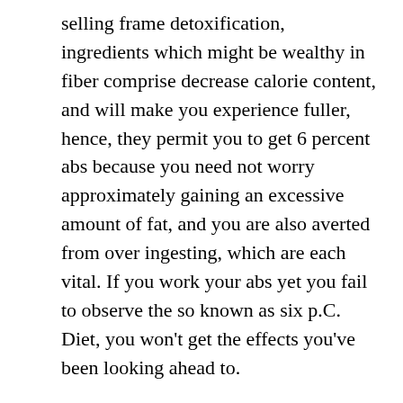selling frame detoxification, ingredients which might be wealthy in fiber comprise decrease calorie content, and will make you experience fuller, hence, they permit you to get 6 percent abs because you need not worry approximately gaining an excessive amount of fat, and you are also averted from over ingesting, which are each vital. If you work your abs yet you fail to observe the so known as six p.C. Diet, you won't get the effects you've been looking ahead to.
Eat foods which have an awesome quantity of protein
Remember that protein is the building block; this means that it builds muscle tissue and is also answerable for muscle recovery. Protein-rich meals are consequently covered in a flat stomach food regimen. You need to eat foods like eggs, cheese, salmon, and many others, as they've high amounts of protein. Protein can also boost